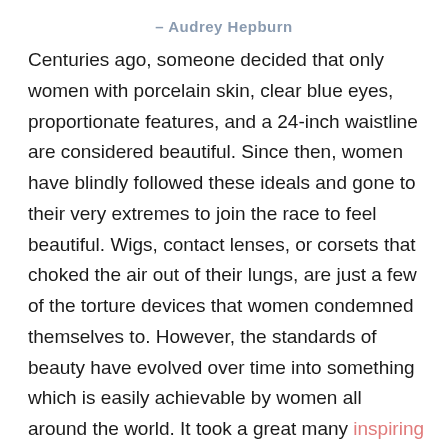– Audrey Hepburn
Centuries ago, someone decided that only women with porcelain skin, clear blue eyes, proportionate features, and a 24-inch waistline are considered beautiful. Since then, women have blindly followed these ideals and gone to their very extremes to join the race to feel beautiful. Wigs, contact lenses, or corsets that choked the air out of their lungs, are just a few of the torture devices that women condemned themselves to. However, the standards of beauty have evolved over time into something which is easily achievable by women all around the world. It took a great many inspiring speeches about beauty ideals and the women around the world had to open up about these daily torments. Finally, people have started to look past the so-